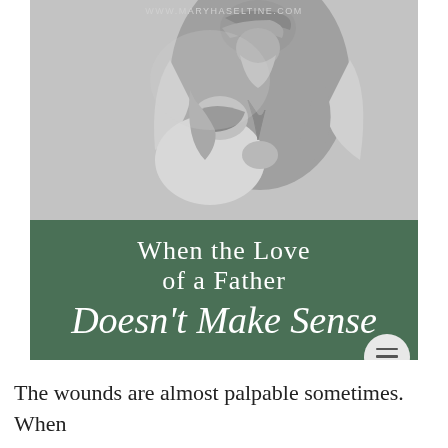[Figure (photo): Grayscale image of a robed elder figure with turban and beard embracing or bowing over a younger person, resembling a biblical scene (Prodigal Son). The website URL 'WWW.MARYHASELTINE.COM' appears at the top of the image. A dark green banner overlays the lower portion with the text 'When the Love of a Father Doesn't Make Sense'. A circular hamburger menu icon appears in the bottom right.]
The wounds are almost palpable sometimes. When